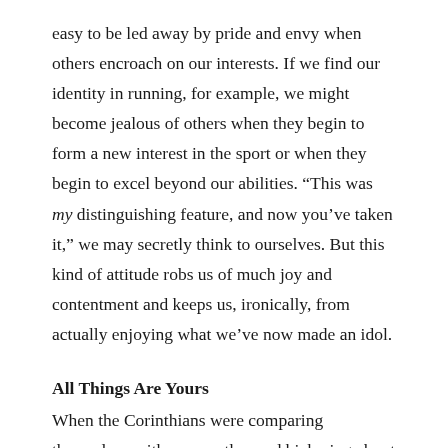easy to be led away by pride and envy when others encroach on our interests. If we find our identity in running, for example, we might become jealous of others when they begin to form a new interest in the sport or when they begin to excel beyond our abilities. “This was my distinguishing feature, and now you’ve taken it,” we may secretly think to ourselves. But this kind of attitude robs us of much joy and contentment and keeps us, ironically, from actually enjoying what we’ve now made an idol.
All Things Are Yours
When the Corinthians were comparing themselves with one another and bickering about who belonged